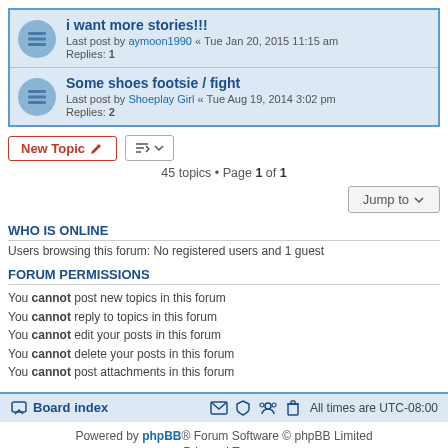i want more stories!!!
Last post by aymoon1990 « Tue Jan 20, 2015 11:15 am
Replies: 1
Some shoes footsie / fight
Last post by Shoeplay Girl « Tue Aug 19, 2014 3:02 pm
Replies: 2
New Topic
45 topics • Page 1 of 1
Jump to
WHO IS ONLINE
Users browsing this forum: No registered users and 1 guest
FORUM PERMISSIONS
You cannot post new topics in this forum
You cannot reply to topics in this forum
You cannot edit your posts in this forum
You cannot delete your posts in this forum
You cannot post attachments in this forum
Board index  All times are UTC-08:00
Powered by phpBB® Forum Software © phpBB Limited
Privacy | Terms